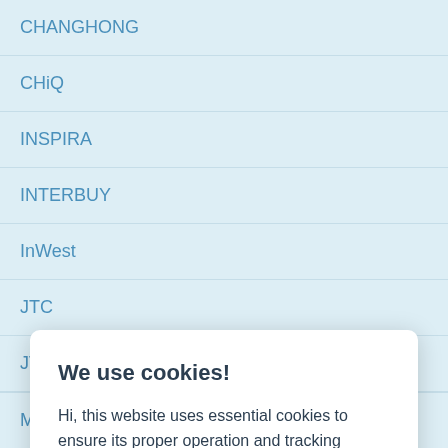CHANGHONG
CHiQ
INSPIRA
INTERBUY
InWest
JTC
JVC
We use cookies!
Hi, this website uses essential cookies to ensure its proper operation and tracking cookies to understand how you interact with it. The latter will be set only after consent. Let me choose
Accept all
Reject all
MORAVA